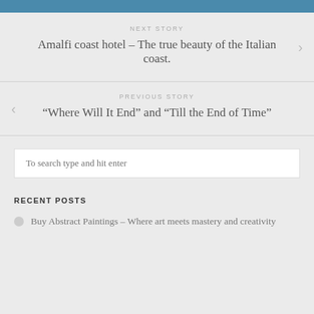NEXT STORY
Amalfi coast hotel – The true beauty of the Italian coast.
PREVIOUS STORY
“Where Will It End” and “Till the End of Time”
To search type and hit enter
RECENT POSTS
Buy Abstract Paintings – Where art meets mastery and creativity